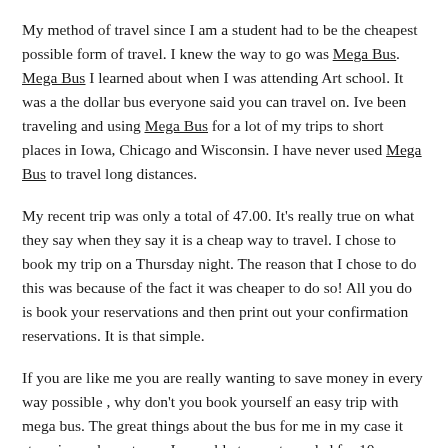My method of travel since I am a student had to be the cheapest possible form of travel. I knew the way to go was Mega Bus. Mega Bus I learned about when I was attending Art school. It was a the dollar bus everyone said you can travel on. Ive been traveling and using Mega Bus for a lot of my trips to short places in Iowa, Chicago and Wisconsin. I have never used Mega Bus to travel long distances.
My recent trip was only a total of 47.00. It's really true on what they say when they say it is a cheap way to travel. I chose to book my trip on a Thursday night. The reason that I chose to do this was because of the fact it was cheaper to do so! All you do is book your reservations and then print out your confirmation reservations. It is that simple.
If you are like me you are really wanting to save money in every way possible , why don't you book yourself an easy trip with mega bus. The great things about the bus for me in my case it stops in my hometown. I was able to meet my dad for 10 or so minutes. He brought me dinner (which was a lifesaver as i am on a budget).
The second thing that is pretty great as far as cheap travel is Grey...